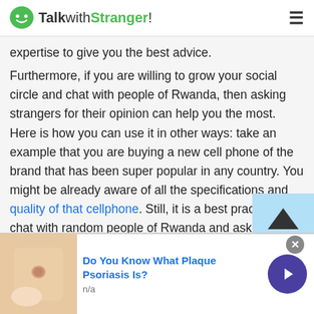TalkwithStranger!
expertise to give you the best advice.
Furthermore, if you are willing to grow your social circle and chat with people of Rwanda, then asking strangers for their opinion can help you the most. Here is how you can use it in other ways: take an example that you are buying a new cell phone of the brand that has been super popular in any country. You might be already aware of all the specifications and quality of that cellphone. Still, it is a best practice to chat with random people of Rwanda and ask them about the brand quality.
[Figure (screenshot): Ad banner: Do You Know What Plaque Psoriasis Is? with image of skin and navigation button]
Do You Know What Plaque Psoriasis Is? n/a